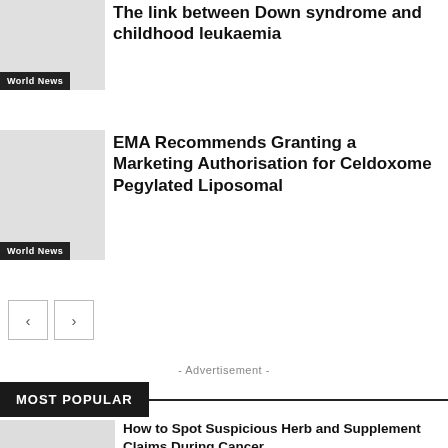The link between Down syndrome and childhood leukaemia
World News
EMA Recommends Granting a Marketing Authorisation for Celdoxome Pegylated Liposomal
World News
- Advertisement -
MOST POPULAR
How to Spot Suspicious Herb and Supplement Claims During Cancer
June 29, 2021
ΟΡΘΟΚΟΛΙΚΟΣ ΚΑΡΚΙΝΟΣ
February 7, 2019